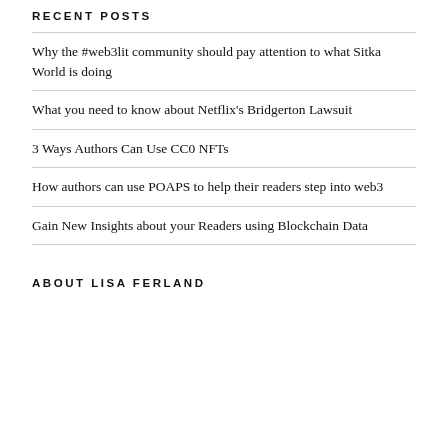RECENT POSTS
Why the #web3lit community should pay attention to what Sitka World is doing
What you need to know about Netflix's Bridgerton Lawsuit
3 Ways Authors Can Use CC0 NFTs
How authors can use POAPS to help their readers step into web3
Gain New Insights about your Readers using Blockchain Data
ABOUT LISA FERLAND